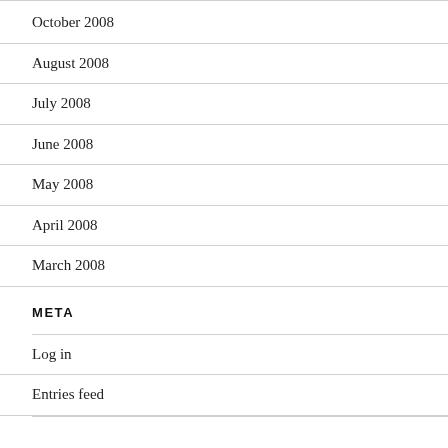October 2008
August 2008
July 2008
June 2008
May 2008
April 2008
March 2008
META
Log in
Entries feed